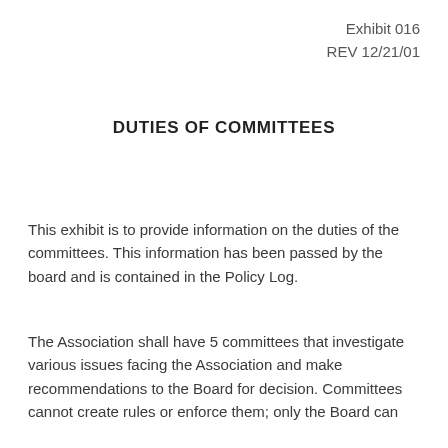Exhibit 016
REV 12/21/01
DUTIES OF COMMITTEES
This exhibit is to provide information on the duties of the committees. This information has been passed by the board and is contained in the Policy Log.
The Association shall have 5 committees that investigate various issues facing the Association and make recommendations to the Board for decision. Committees cannot create rules or enforce them; only the Board can